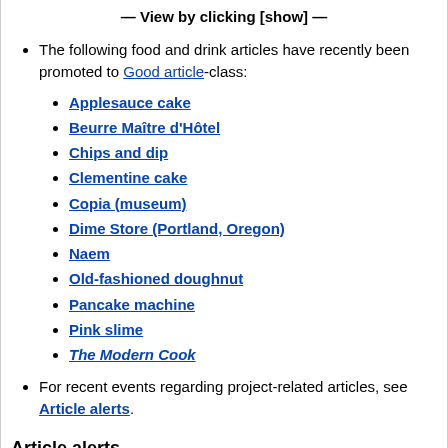— View by clicking [show] —
The following food and drink articles have recently been promoted to Good article-class:
Applesauce cake
Beurre Maître d'Hôtel
Chips and dip
Clementine cake
Copia (museum)
Dime Store (Portland, Oregon)
Naem
Old-fashioned doughnut
Pancake machine
Pink slime
The Modern Cook
For recent events regarding project-related articles, see Article alerts.
Article alerts